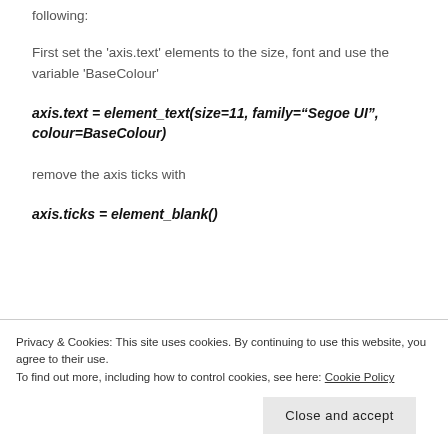following:
First set the 'axis.text' elements to the size, font and use the variable 'BaseColour'
remove the axis ticks with
Privacy & Cookies: This site uses cookies. By continuing to use this website, you agree to their use.
To find out more, including how to control cookies, see here: Cookie Policy
Close and accept